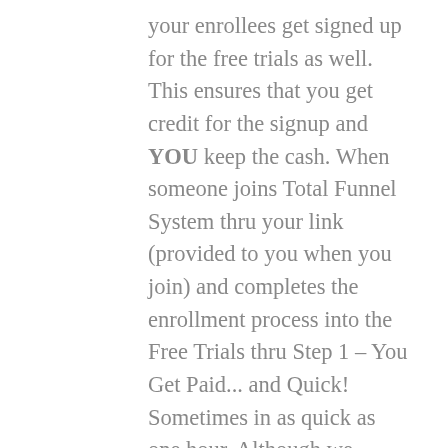your enrollees get signed up for the free trials as well. This ensures that you get credit for the signup and YOU keep the cash. When someone joins Total Funnel System thru your link (provided to you when you join) and completes the enrollment process into the Free Trials thru Step 1 – You Get Paid... and Quick! Sometimes in as quick as one hour. Although we cannot guarantee that you will make any income at all, it is not uncommon for Total Funnel System members to earn as much as $300 to $500 daily where some of the leaders are earning an extra $6,940.00 their very first month (income varies dependent on your effort). The image below shows an example of just one of the members who completed the first